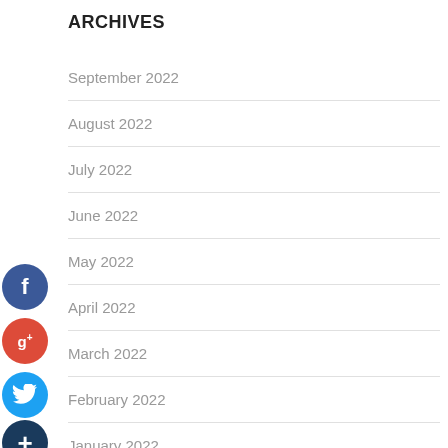ARCHIVES
September 2022
August 2022
July 2022
June 2022
May 2022
April 2022
March 2022
February 2022
January 2022
December 2021